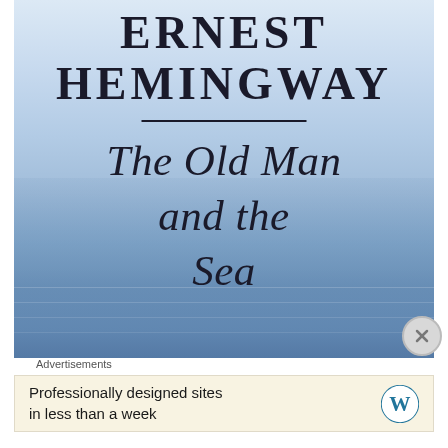[Figure (illustration): Book cover of 'The Old Man and the Sea' by Ernest Hemingway. Light blue ocean/water background with text overlay. Author name ERNEST HEMINGWAY in large serif bold capitals at top, a horizontal divider line, then the title 'The Old Man and the Sea' in large italic serif font below.]
Advertisements
Professionally designed sites in less than a week